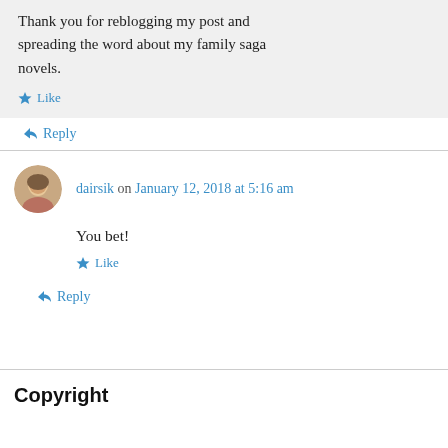Thank you for reblogging my post and spreading the word about my family saga novels.
Like
Reply
dairsik on January 12, 2018 at 5:16 am
You bet!
Like
Reply
Copyright